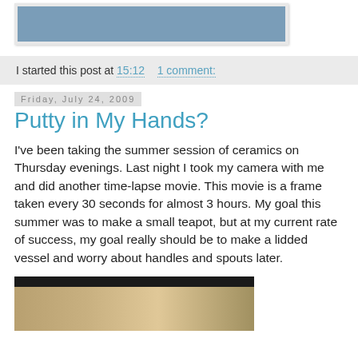[Figure (photo): Top portion of a photo showing a bluish-gray textured surface, partially cropped]
I started this post at 15:12    1 comment:
Friday, July 24, 2009
Putty in My Hands?
I've been taking the summer session of ceramics on Thursday evenings. Last night I took my camera with me and did another time-lapse movie. This movie is a frame taken every 30 seconds for almost 3 hours. My goal this summer was to make a small teapot, but at my current rate of success, my goal really should be to make a lidded vessel and worry about handles and spouts later.
[Figure (photo): Video thumbnail showing a pottery wheel and hands working with clay in a ceramics studio]